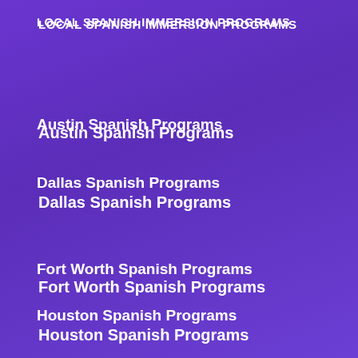LOCAL SPANISH IMMERSION PROGRAMS
Austin Spanish Programs
Dallas Spanish Programs
Fort Worth Spanish Programs
Houston Spanish Programs
Irving Spanish Programs
Plano Spanish Programs
San Antonio Spanish Programs